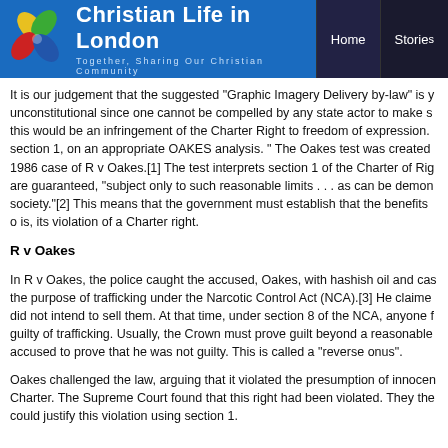Christian Life in London — Together, Sharing Our Christian Community | Home | Stories
It is our judgement that the suggested "Graphic Imagery Delivery by-law" is unconstitutional since one cannot be compelled by any state actor to make s... this would be an infringement of the Charter Right to freedom of expression. section 1, on an appropriate OAKES analysis. " The Oakes test was created 1986 case of R v Oakes.[1] The test interprets section 1 of the Charter of Rig... are guaranteed, "subject only to such reasonable limits . . . as can be demon... society."[2] This means that the government must establish that the benefits o... is, its violation of a Charter right.
R v Oakes
In R v Oakes, the police caught the accused, Oakes, with hashish oil and cas... the purpose of trafficking under the Narcotic Control Act (NCA).[3] He claime... did not intend to sell them. At that time, under section 8 of the NCA, anyone f... guilty of trafficking. Usually, the Crown must prove guilt beyond a reasonable... accused to prove that he was not guilty. This is called a "reverse onus".
Oakes challenged the law, arguing that it violated the presumption of innocen... Charter. The Supreme Court found that this right had been violated. They the... could justify this violation using section 1.